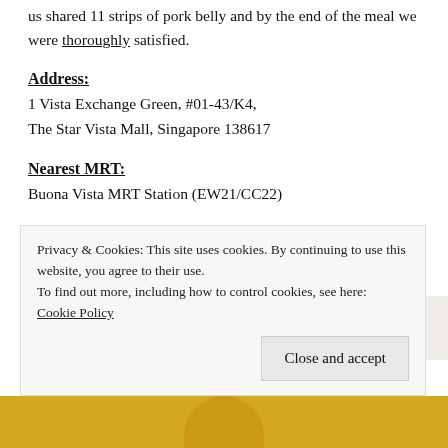us shared 11 strips of pork belly and by the end of the meal we were thoroughly satisfied.
Address:
1 Vista Exchange Green, #01-43/K4,
The Star Vista Mall, Singapore 138617
Nearest MRT:
Buona Vista MRT Station (EW21/CC22)
Opening Hours:
Mondays – Saturdays: 11:30AM – 10:00PM
Sundays: 11:00AM – 10:00PM
Privacy & Cookies: This site uses cookies. By continuing to use this website, you agree to their use. To find out more, including how to control cookies, see here: Cookie Policy
[Figure (photo): Yellow strip at bottom with partial view of a person]